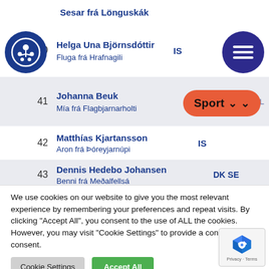| # | Name / Dog | Country |
| --- | --- | --- |
|  | Sesar frá Lönguskák |  |
| 40 | Helga Una Björnsdóttir / Fluga frá Hrafnagili | IS |
| 41 | Johanna Beuk / Mía frá Flagbjarnarholti | BE DK NL |
| 42 | Matthías Kjartansson / Aron frá Þóreyjarnúpi | IS |
| 43 | Dennis Hedebo Johansen / Benni frá Meðalfellsá | DK SE |
[Figure (logo): Blue circular logo with white figure/animal motif]
[Figure (other): Dark blue circular menu button with three horizontal lines]
[Figure (other): Orange rounded Sport dropdown button with chevrons]
We use cookies on our website to give you the most relevant experience by remembering your preferences and repeat visits. By clicking "Accept All", you consent to the use of ALL the cookies. However, you may visit "Cookie Settings" to provide a controlled consent.
Cookie Settings
Accept All
[Figure (other): reCAPTCHA logo with Privacy · Terms text]